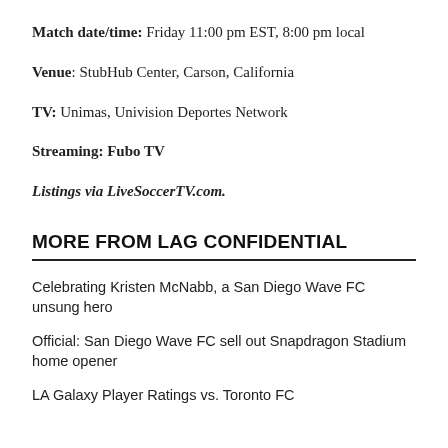Match date/time: Friday 11:00 pm EST, 8:00 pm local
Venue: StubHub Center, Carson, California
TV: Unimas, Univision Deportes Network
Streaming: Fubo TV
Listings via LiveSoccerTV.com.
MORE FROM LAG CONFIDENTIAL
Celebrating Kristen McNabb, a San Diego Wave FC unsung hero
Official: San Diego Wave FC sell out Snapdragon Stadium home opener
LA Galaxy Player Ratings vs. Toronto FC